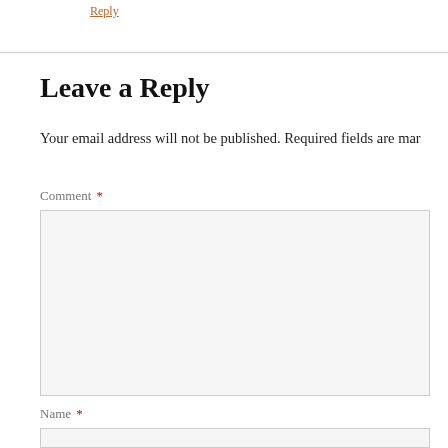Reply
Leave a Reply
Your email address will not be published. Required fields are mar
Comment *
Name *